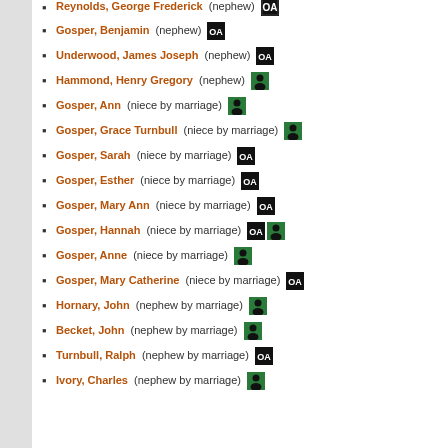Reynolds, George Frederick (nephew)
Gosper, Benjamin (nephew)
Underwood, James Joseph (nephew)
Hammond, Henry Gregory (nephew)
Gosper, Ann (niece by marriage)
Gosper, Grace Turnbull (niece by marriage)
Gosper, Sarah (niece by marriage)
Gosper, Esther (niece by marriage)
Gosper, Mary Ann (niece by marriage)
Gosper, Hannah (niece by marriage)
Gosper, Anne (niece by marriage)
Gosper, Mary Catherine (niece by marriage)
Hornary, John (nephew by marriage)
Becket, John (nephew by marriage)
Turnbull, Ralph (nephew by marriage)
Ivory, Charles (nephew by marriage)